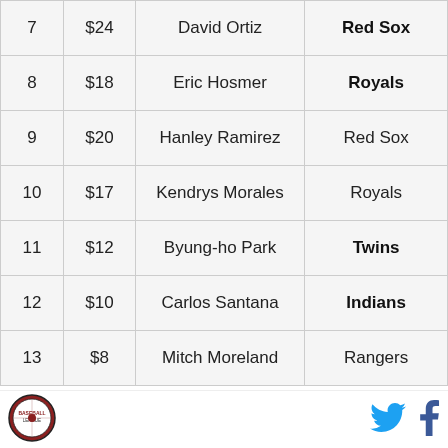| 7 | $24 | David Ortiz | Red Sox |
| 8 | $18 | Eric Hosmer | Royals |
| 9 | $20 | Hanley Ramirez | Red Sox |
| 10 | $17 | Kendrys Morales | Royals |
| 11 | $12 | Byung-ho Park | Twins |
| 12 | $10 | Carlos Santana | Indians |
| 13 | $8 | Mitch Moreland | Rangers |
[Figure (logo): Baseball league logo circle emblem]
[Figure (logo): Twitter bird icon in blue]
[Figure (logo): Facebook f icon in dark blue]